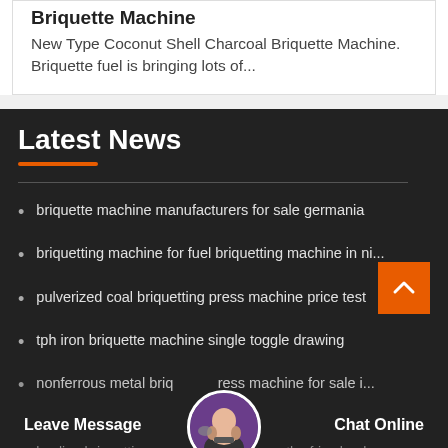Briquette Machine
New Type Coconut Shell Charcoal Briquette Machine. Briquette fuel is bringing lots of...
Latest News
briquette machine manufacturers for sale germania
briquetting machine for fuel briquetting machine in ni...
pulverized coal briquetting press machine price test
tph iron briquette machine single toggle drawing
nonferrous metal briquette press machine for sale i...
kaoline briquetting press machine in south africa bank
Leave Message   Chat Online